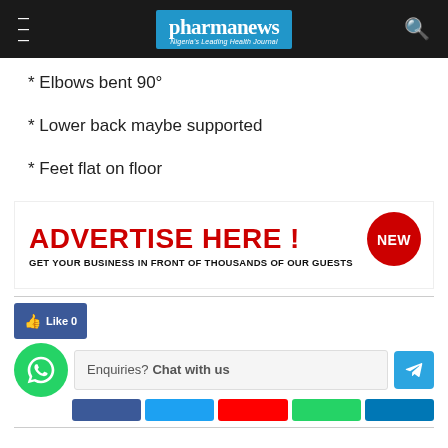pharmanews - Nigeria's Leading Health Journal
* Elbows bent 90°
* Lower back maybe supported
* Feet flat on floor
[Figure (infographic): Advertisement banner: ADVERTISE HERE! GET YOUR BUSINESS IN FRONT OF THOUSANDS OF OUR GUESTS with a red NEW badge]
[Figure (infographic): Social sharing bar with Like button, WhatsApp chat widget, Telegram button, and share buttons]